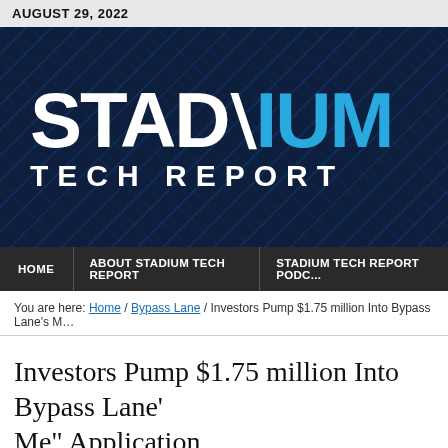AUGUST 29, 2022
[Figure (logo): Stadium Tech Report logo on dark blue textured background. 'STAD' in white bold letters, 'IUM' in cyan/light blue bold letters with a diagonal slash between them, and 'TECH REPORT' in white spaced letters below.]
HOME | ABOUT STADIUM TECH REPORT | STADIUM TECH REPORT PODC...
You are here: Home / Bypass Lane / Investors Pump $1.75 million Into Bypass Lane's M...
Investors Pump $1.75 million Into Bypass Lane's Me" Application